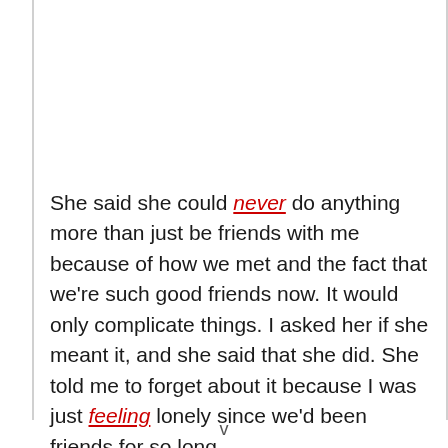She said she could never do anything more than just be friends with me because of how we met and the fact that we're such good friends now. It would only complicate things. I asked her if she meant it, and she said that she did. She told me to forget about it because I was just feeling lonely since we'd been friends for so long.
v